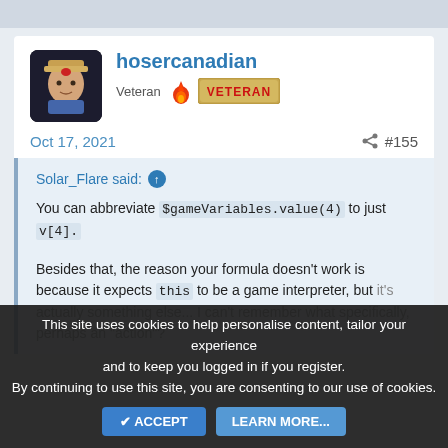[Figure (screenshot): Top navigation bar area, light blue-grey background strip]
hosercanadian
Veteran
[Figure (illustration): Veteran badge with pixel art flame character and gold 'VETERAN' text on a beige/gold button]
Oct 17, 2021
#155
Solar_Flare said:
You can abbreviate $gameVariables.value(4) to just v[4].
Besides that, the reason your formula doesn't work is because it expects this to be a game interpreter, but it's actually something else... I can't remember what specifically, perhaps an "action"?
This site uses cookies to help personalise content, tailor your experience and to keep you logged in if you register.
By continuing to use this site, you are consenting to our use of cookies.